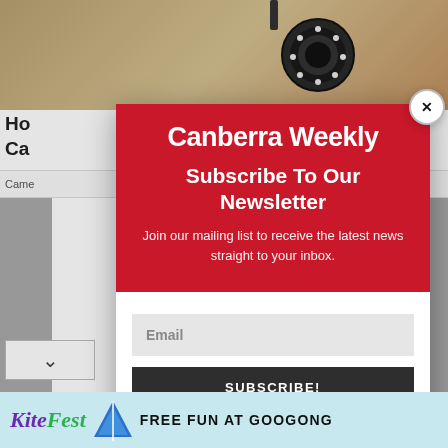[Figure (screenshot): Background webpage content showing a security camera image at top, partially obscured heading text 'Ho... Ca...' and navigation bar with 'Came...' and 'ore' button visible. Gray sidebar strips flank main content area.]
[Figure (screenshot): Canberra Weekly newsletter subscription modal popup with red header containing logo 'Canberra Weekly', bold white text 'Subscribe To Our Newsletter', descriptive text 'Join our mailing list to receive the latest news straight to your inbox.', white body section with Email input field and dark SUBSCRIBE! button. Close X button in top-right corner.]
Canberra Weekly
Subscribe To Our Newsletter
Join our mailing list to receive the latest news straight to your inbox.
[Figure (infographic): KiteFest advertisement banner at bottom: 'KiteFest' logo in purple script with kite graphic, text 'FREE FUN AT GOOGONG' on light blue background]